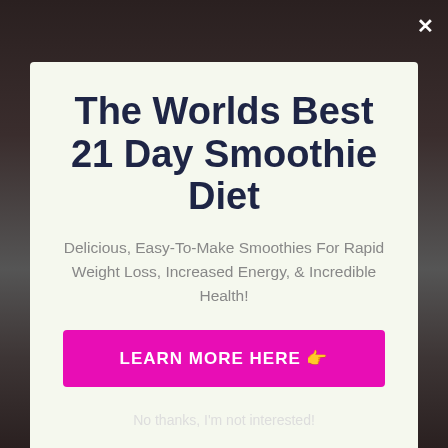[Figure (photo): Dark background photo of a person, partially visible behind a modal popup]
The Worlds Best 21 Day Smoothie Diet
Delicious, Easy-To-Make Smoothies For Rapid Weight Loss, Increased Energy, & Incredible Health!
LEARN MORE HERE 👉
No thanks, I'm not interested!